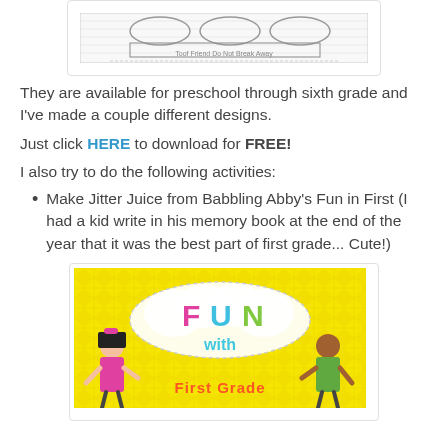[Figure (illustration): A black and white sketch/coloring page image shown in a bordered card frame at the top of the page]
They are available for preschool through sixth grade and I've made a couple different designs.
Just click HERE to download for FREE!
I also try to do the following activities:
Make Jitter Juice from Babbling Abby's Fun in First (I had a kid write in his memory book at the end of the year that it was the best part of first grade... Cute!)
[Figure (illustration): Colorful educational product cover image showing 'FUN with First Grade' with cartoon children on a yellow chevron background]